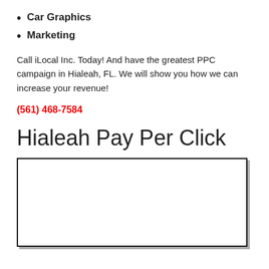Car Graphics
Marketing
Call iLocal Inc. Today! And have the greatest PPC campaign in Hialeah, FL. We will show you how we can increase your revenue!
(561) 468-7584
Hialeah Pay Per Click
[Figure (other): Empty white box with black border, representing an image or advertisement placeholder]